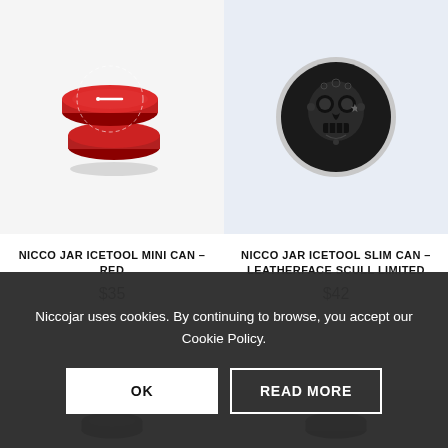[Figure (photo): Red aluminum round tin/can product (Nicco Jar Icetool Mini Can - Red), shown slightly open from above on light grey background]
[Figure (photo): Round slim can with black leatherface skull design on top, silver rim, on light blue background (Nicco Jar Icetool Slim Can - Leatherface Scull Limited)]
NICCO JAR ICETOOL MINI CAN – RED
$35
NICCO JAR ICETOOL SLIM CAN – LEATHERFACE SCULL LIMITED
$42
[Figure (photo): Partially visible dark colored product tin can at bottom of page, partially covered by cookie banner]
Niccojar uses cookies. By continuing to browse, you accept our Cookie Policy.
OK
READ MORE